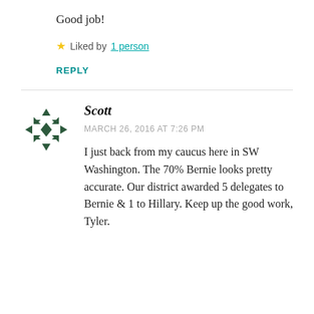Good job!
★ Liked by 1 person
REPLY
Scott
MARCH 26, 2016 AT 7:26 PM
I just back from my caucus here in SW Washington. The 70% Bernie looks pretty accurate. Our district awarded 5 delegates to Bernie & 1 to Hillary. Keep up the good work, Tyler.